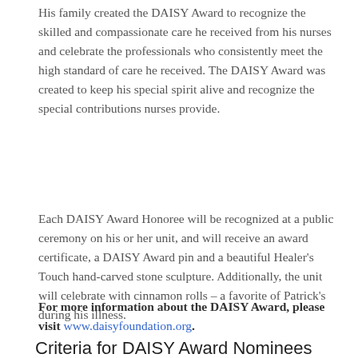His family created the DAISY Award to recognize the skilled and compassionate care he received from his nurses and celebrate the professionals who consistently meet the high standard of care he received. The DAISY Award was created to keep his special spirit alive and recognize the special contributions nurses provide.
Each DAISY Award Honoree will be recognized at a public ceremony on his or her unit, and will receive an award certificate, a DAISY Award pin and a beautiful Healer's Touch hand-carved stone sculpture. Additionally, the unit will celebrate with cinnamon rolls – a favorite of Patrick's during his illness.
For more information about the DAISY Award, please visit www.daisyfoundation.org.
Criteria for DAISY Award Nominees
Patients, visitors, nurses, physicians, and